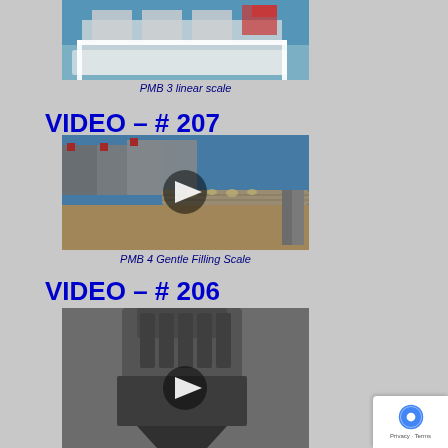[Figure (photo): PMB 3 linear scale machine - top portion visible, industrial weighing equipment on grey background]
PMB 3 linear scale
VIDEO – # 207
[Figure (photo): PMB 4 Gentle Filling Scale - video thumbnail showing industrial filling scale equipment with play button overlay]
PMB 4 Gentle Filling Scale
VIDEO – # 206
[Figure (photo): Industrial dust collector or similar equipment - video thumbnail with play button overlay, partially visible at bottom of page]